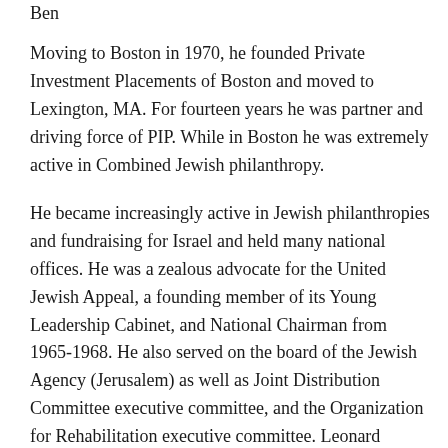Moving to Boston in 1970, he founded Private Investment Placements of Boston and moved to Lexington, MA. For fourteen years he was partner and driving force of PIP. While in Boston he was extremely active in Combined Jewish philanthropy.
He became increasingly active in Jewish philanthropies and fundraising for Israel and held many national offices. He was a zealous advocate for the United Jewish Appeal, a founding member of its Young Leadership Cabinet, and National Chairman from 1965-1968. He also served on the board of the Jewish Agency (Jerusalem) as well as Joint Distribution Committee executive committee, and the Organization for Rehabilitation executive committee. Leonard worked closely with Sy Kenan in the 1960s on behalf of Israel and was one of the founding members of the current American Israel Public Affairs Committee.